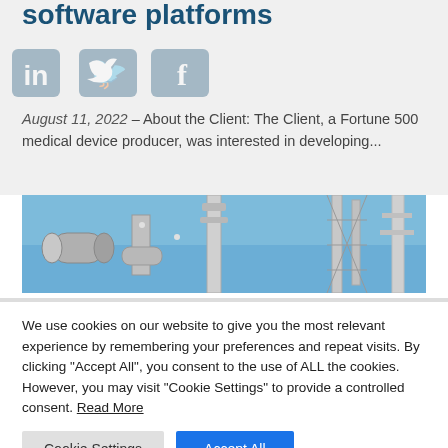software platforms
[Figure (logo): LinkedIn, Twitter, and Facebook social media sharing icons overlaid on a light grey background]
August 11, 2022 – About the Client: The Client, a Fortune 500 medical device producer, was interested in developing...
[Figure (photo): Industrial facility with large metallic pipes and refinery towers against a blue sky]
We use cookies on our website to give you the most relevant experience by remembering your preferences and repeat visits. By clicking "Accept All", you consent to the use of ALL the cookies. However, you may visit "Cookie Settings" to provide a controlled consent. Read More
Cookie Settings | Accept All